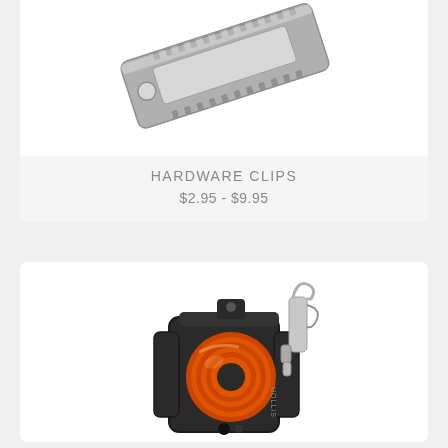[Figure (photo): Hardware clips - metal serrated rectangular plate with holes, shown at an angle on white background]
HARDWARE CLIPS
$2.95 - $9.95
[Figure (photo): Dive reel with orange cord wound on a black plastic frame/handle, with a silver snap bolt clip attached, brand label visible on frame]